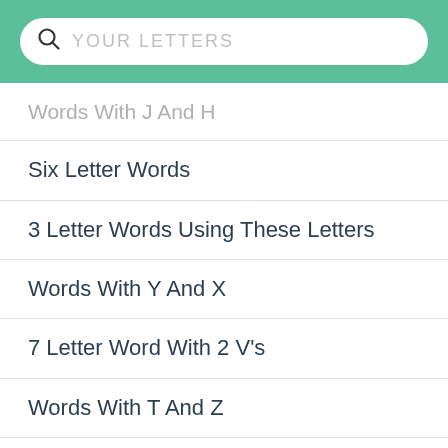[Figure (screenshot): Search bar with magnifying glass icon and placeholder text 'YOUR LETTERS' on green background]
Words With J And H
Six Letter Words
3 Letter Words Using These Letters
Words With Y And X
7 Letter Word With 2 V's
Words With T And Z
Words Starting With J
Words With P And J
Words With K And J
Word With Q And K